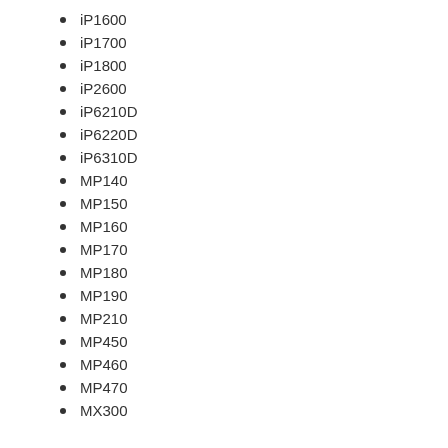iP1600
iP1700
iP1800
iP2600
iP6210D
iP6220D
iP6310D
MP140
MP150
MP160
MP170
MP180
MP190
MP210
MP450
MP460
MP470
MX300